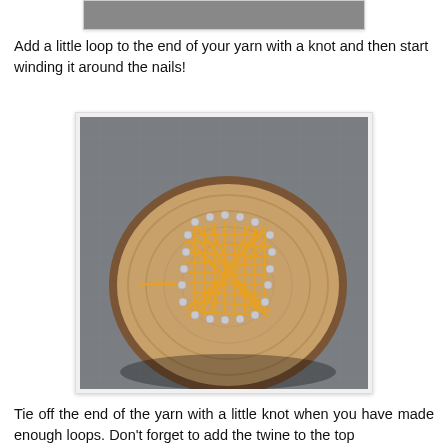[Figure (photo): Partial top of a previous photo showing a grid/mat background — cropped at top of page]
Add a little loop to the end of your yarn with a knot and then start winding it around the nails!
[Figure (photo): A round wooden slice (cross-section of a log) with several nails hammered around a square outline, and bright yellow/orange yarn wound back and forth between the nails forming a string art pattern. The piece sits on a gray self-healing cutting mat.]
Tie off the end of the yarn with a little knot when you have made enough loops. Don't forget to add the twine to the top